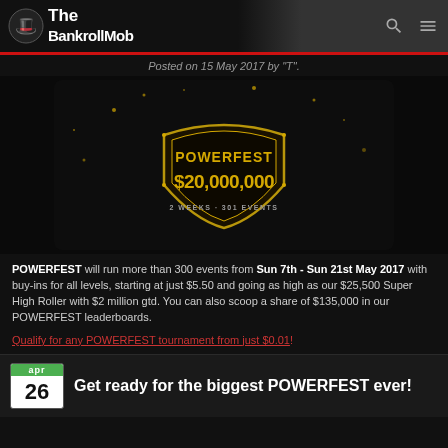The BankrollMob
Posted on 15 May 2017 by "T".
[Figure (illustration): POWERFEST $20,000,000 promotional banner — 2 weeks, 301 events]
POWERFEST will run more than 300 events from Sun 7th - Sun 21st May 2017 with buy-ins for all levels, starting at just $5.50 and going as high as our $25,500 Super High Roller with $2 million gtd. You can also scoop a share of $135,000 in our POWERFEST leaderboards.
Qualify for any POWERFEST tournament from just $0.01!
Get ready for the biggest POWERFEST ever!